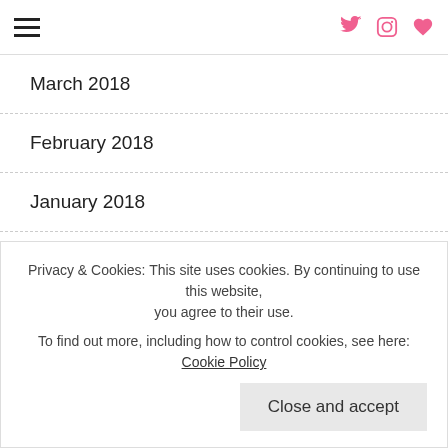Navigation bar with hamburger menu and social icons (Twitter, Instagram, Heart)
March 2018
February 2018
January 2018
August 2017
April 2017
March 2017
February 2017
January 2017
December 2016
Privacy & Cookies: This site uses cookies. By continuing to use this website, you agree to their use. To find out more, including how to control cookies, see here: Cookie Policy
Close and accept